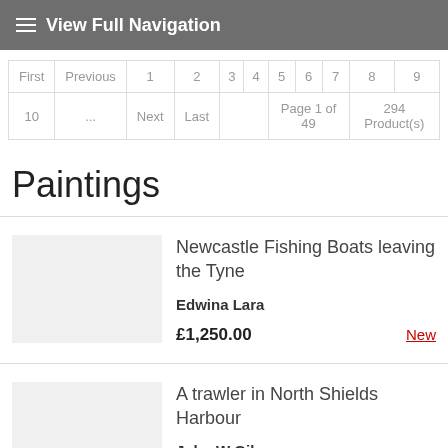View Full Navigation
| First | Previous | 1 | 2 | 3 | 4 | 5 | 6 | 7 | 8 | 9 |
| --- | --- | --- | --- | --- | --- | --- | --- | --- | --- | --- |
| 10 | ... | Next | Last |  |  | Page 1 of 49 |  | 294 Product(s) |  |  |
Paintings
Newcastle Fishing Boats leaving the Tyne
Edwina Lara
£1,250.00  New
A trawler in North Shields Harbour
John W Gilroy